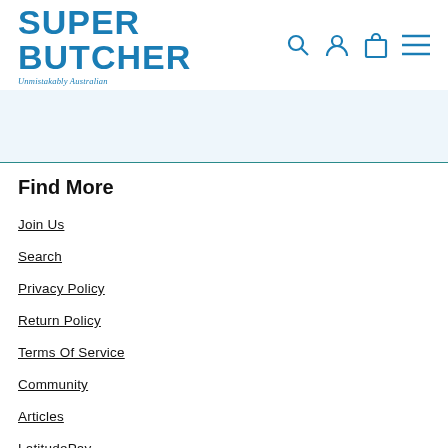SUPER BUTCHER — Unmistakably Australian
[Figure (logo): Super Butcher logo with 'SUPER BUTCHER' in bold blue text and 'Unmistakably Australian' tagline in italic blue]
Find More
Join Us
Search
Privacy Policy
Return Policy
Terms Of Service
Community
Articles
LatitudePay